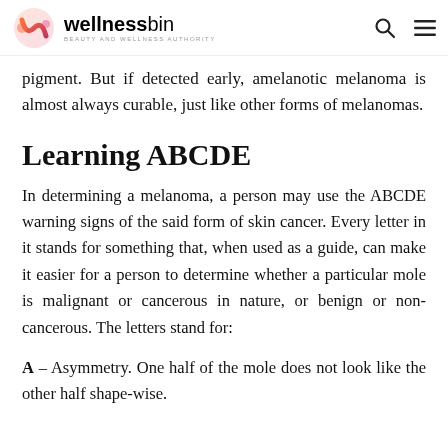wellnessbin — BEAUTY AND WELLNESS AUTHORITY
pigment. But if detected early, amelanotic melanoma is almost always curable, just like other forms of melanomas.
Learning ABCDE
In determining a melanoma, a person may use the ABCDE warning signs of the said form of skin cancer. Every letter in it stands for something that, when used as a guide, can make it easier for a person to determine whether a particular mole is malignant or cancerous in nature, or benign or non-cancerous. The letters stand for:
A – Asymmetry. One half of the mole does not look like the other half shape-wise.